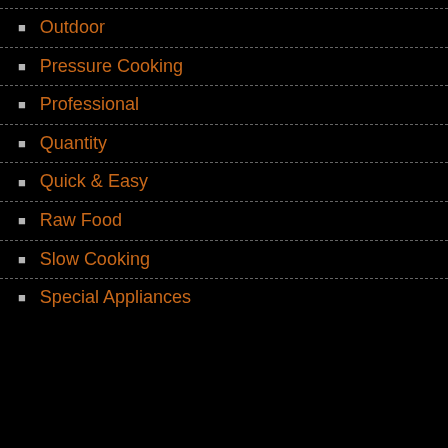Outdoor
Pressure Cooking
Professional
Quantity
Quick & Easy
Raw Food
Slow Cooking
Special Appliances